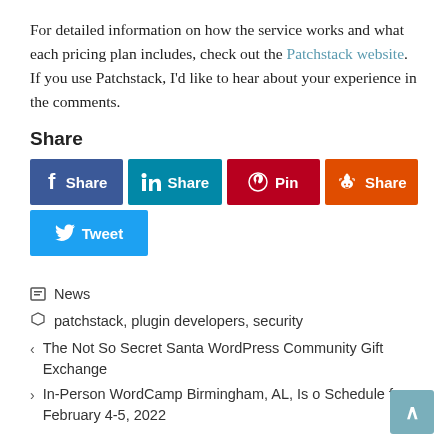For detailed information on how the service works and what each pricing plan includes, check out the Patchstack website. If you use Patchstack, I'd like to hear about your experience in the comments.
Share
[Figure (other): Social share buttons: Facebook Share, LinkedIn Share, Pinterest Pin, Reddit Share, Twitter Tweet]
News
patchstack, plugin developers, security
< The Not So Secret Santa WordPress Community Gift Exchange
> In-Person WordCamp Birmingham, AL, Is o Schedule for February 4-5, 2022